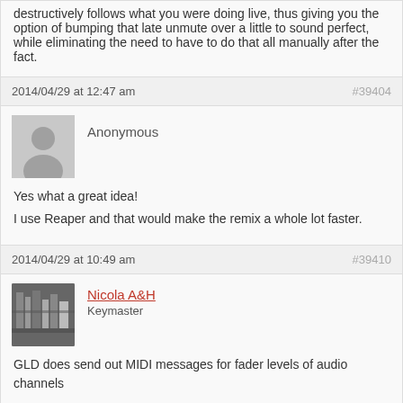destructively follows what you were doing live, thus giving you the option of bumping that late unmute over a little to sound perfect, while eliminating the need to have to do that all manually after the fact.
2014/04/29 at 12:47 am
#39404
Anonymous
Yes what a great idea!
I use Reaper and that would make the remix a whole lot faster.
2014/04/29 at 10:49 am
#39410
Nicola A&H
Keymaster
GLD does send out MIDI messages for fader levels of audio channels